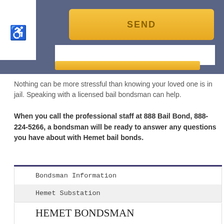[Figure (screenshot): Website UI section showing a yellow SEND button on a blue-gray background with a white form area and gold bar below]
Nothing can be more stressful than knowing your loved one is in jail. Speaking with a licensed bail bondsman can help.
When you call the professional staff at 888 Bail Bond, 888-224-5266, a bondsman will be ready to answer any questions you have about with Hemet bail bonds.
Bondsman Information
Hemet Substation
HEMET BONDSMAN
No one wants to find out that someone they care about has been